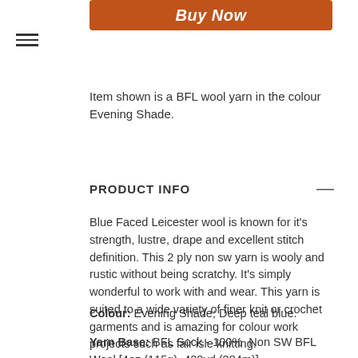[Figure (screenshot): Orange 'Buy Now' button at the top of a product page]
[Figure (other): Hamburger menu icon (three horizontal lines)]
Item shown is a BFL wool yarn in the colour Evening Shade.
PRODUCT INFO
Blue Faced Leicester wool is known for it's strength, lustre, drape and excellent stitch definition. This 2 ply non sw yarn is wooly and rustic without being scratchy. It's simply wonderful to work with and wear. This yarn is suited to a wide variety of finer knit or crochet garments and is amazing for colour work projects such as fair isle knitting.
Colour: Evening Shade; Deep teal blue.
Yarn Base: BFL Sock - 100%  Non SW BFL Wool [4oz (115g), 420yd (384m)]